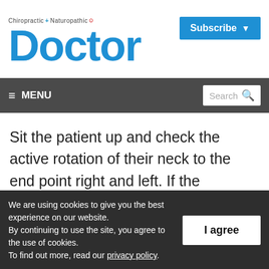Chiropractic + Naturopathic Doctor — Subscribe
≡ MENU  Search
Sit the patient up and check the active rotation of their neck to the end point right and left. If the procedure was successful, you will observe a symmetric increase in active rotation commonly eight to 10 degrees and as
We are using cookies to give you the best experience on our website.
By continuing to use the site, you agree to the use of cookies.
To find out more, read our privacy policy.